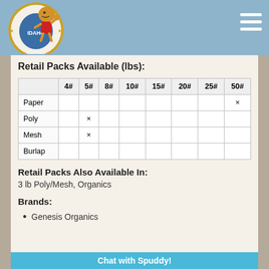[Figure (logo): Certified Idaho potatoes logo with cartoon potato character and Idaho state seal]
Retail Packs Available (lbs):
|  | 4# | 5# | 8# | 10# | 15# | 20# | 25# | 50# |
| --- | --- | --- | --- | --- | --- | --- | --- | --- |
| Paper |  |  |  |  |  |  |  | × |
| Poly |  | × |  |  |  |  |  |  |
| Mesh |  | × |  |  |  |  |  |  |
| Burlap |  |  |  |  |  |  |  |  |
Retail Packs Also Available In:
3 lb Poly/Mesh, Organics
Brands:
Genesis Organics